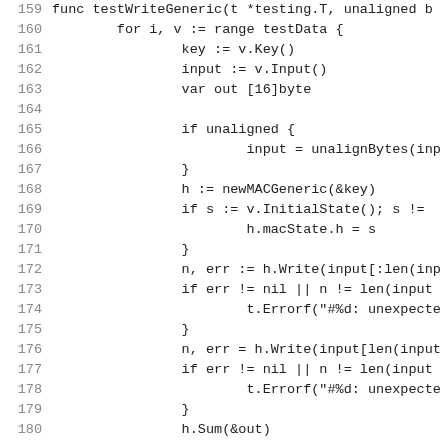[Figure (screenshot): Source code listing in Go language, lines 159-180, showing testWriteGeneric function with loop over testData, key/input/output variable declarations, unaligned bytes handling, MAC generic operations, Write calls, error checks, and Sum call.]